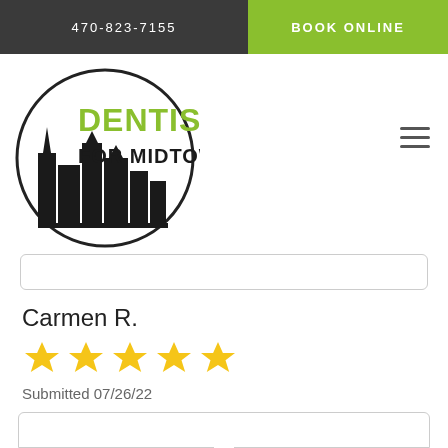470-823-7155
BOOK ONLINE
[Figure (logo): Dentistry for Midtown logo: circle with city skyline silhouette, green text 'DENTISTRY' and black text 'FOR MIDTOWN']
Carmen R.
[Figure (infographic): 5 yellow star rating]
Submitted 07/26/22